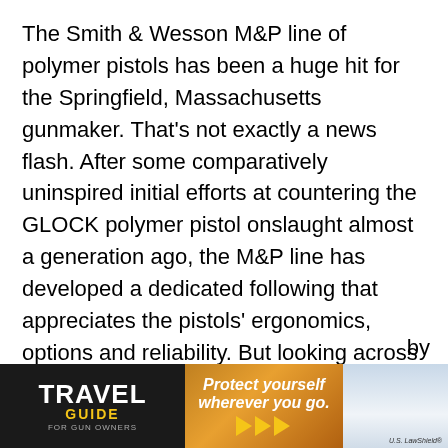The Smith & Wesson M&P line of polymer pistols has been a huge hit for the Springfield, Massachusetts gunmaker. That's not exactly a news flash. After some comparatively uninspired initial efforts at countering the GLOCK polymer pistol onslaught almost a generation ago, the M&P line has developed a dedicated following that appreciates the pistols' ergonomics, options and reliability. But looking across the M&P product line, there had been one model missing. Yes, Smith offered the M&P22, but that's a full- ...by ...corporate
[Figure (photo): Advertisement banner: Travel Guide for Gun Owners / U.S. LawShield ad reading 'Protect yourself wherever you go.' with orange arrows]